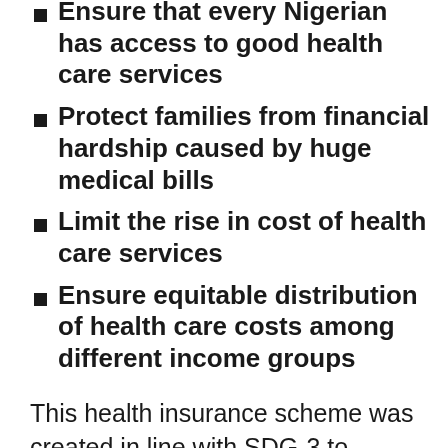Ensure that every Nigerian has access to good health care services
Protect families from financial hardship caused by huge medical bills
Limit the rise in cost of health care services
Ensure equitable distribution of health care costs among different income groups
This health insurance scheme was created in line with SDG-3 to ensure availability of insurance services to all people at affordable rates. It focuses on bringing the knowledge of